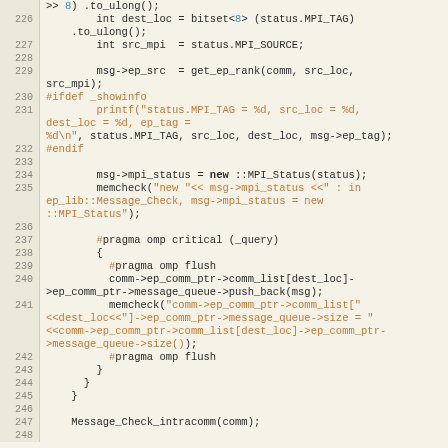Source code listing lines 226-248, C++ MPI code
[Figure (screenshot): C++ source code snippet showing MPI message handling with line numbers 226-248, including pragma omp critical sections, memcheck calls, and message queue operations]